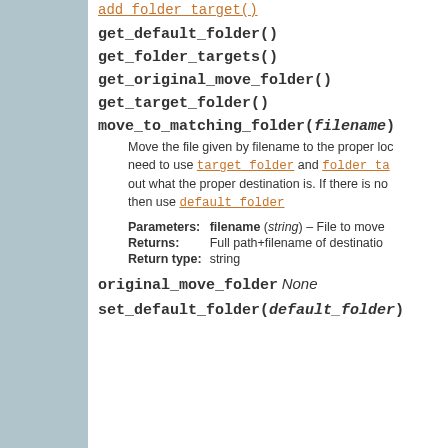add_folder_target()
get_default_folder()
get_folder_targets()
get_original_move_folder()
get_target_folder()
move_to_matching_folder(filename)
Move the file given by filename to the proper location. We need to use target_folder and folder_targets to find out what the proper destination is. If there is no match, then use default_folder
| Parameter | Detail |
| --- | --- |
| Parameters: | filename (string) – File to move |
| Returns: | Full path+filename of destination |
| Return type: | string |
original_move_folder None
set_default_folder(default_folder)